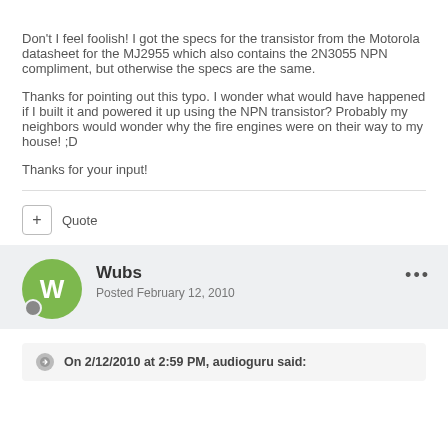Don't I feel foolish! I got the specs for the transistor from the Motorola datasheet for the MJ2955 which also contains the 2N3055 NPN compliment, but otherwise the specs are the same.
Thanks for pointing out this typo. I wonder what would have happened if I built it and powered it up using the NPN transistor?  Probably my neighbors would wonder why the fire engines were on their way to my house!  ;D
Thanks for your input!
Quote
Wubs
Posted February 12, 2010
On 2/12/2010 at 2:59 PM, audioguru said: